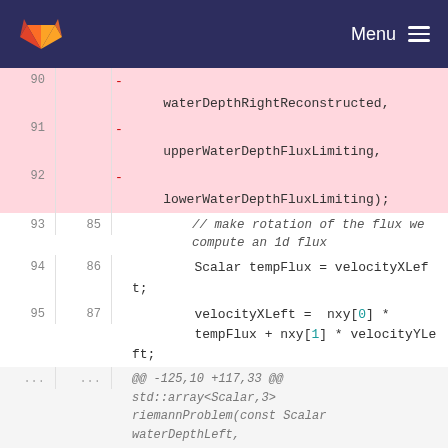GitLab — Menu
Code diff view showing lines 90-92 (deleted) and 93-125+ (context) of a C++ file with water depth flux limiting and Riemann problem functions